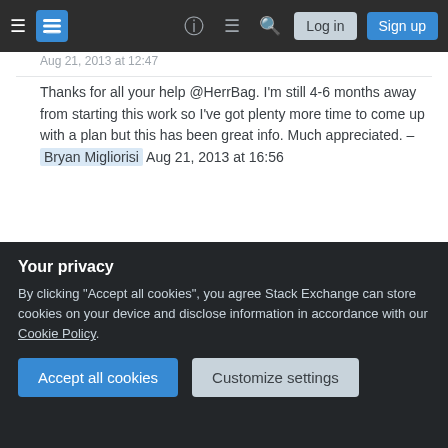[Figure (screenshot): Stack Exchange navigation bar with hamburger menu, logo, question mark icon, chat icon, search icon, Log in button, and Sign up button]
Aug 21, 2013 at 12:47
Thanks for all your help @HerrBag. I'm still 4-6 months away from starting this work so I've got plenty more time to come up with a plan but this has been great info. Much appreciated. – Bryan Migliorisi Aug 21, 2013 at 16:56
Add a comment
Your Answer
Your privacy
By clicking "Accept all cookies", you agree Stack Exchange can store cookies on your device and disclose information in accordance with our Cookie Policy.
Accept all cookies
Customize settings